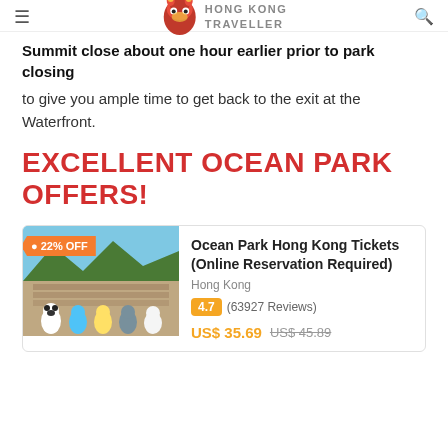HONG KONG TRAVELLER
Summit close about one hour earlier prior to park closing to give you ample time to get back to the exit at the Waterfront.
EXCELLENT OCEAN PARK OFFERS!
[Figure (photo): Ocean Park Hong Kong themed photo with cartoon mascots in front of roller coaster, tagged 22% OFF]
Ocean Park Hong Kong Tickets (Online Reservation Required)
Hong Kong
4.7 (63927 Reviews)
US$ 35.69  US$ 45.89